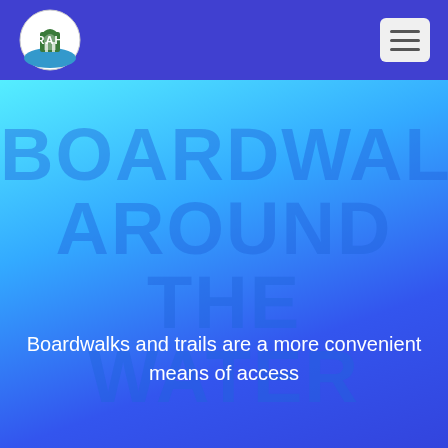[Figure (logo): RAH circular logo with green building/lighthouse icon and blue water design]
[Figure (other): Hamburger menu button (three horizontal lines) on light grey rounded rectangle background]
BOARDWALKS AROUND THE WATER
Boardwalks and trails are a more convenient means of access